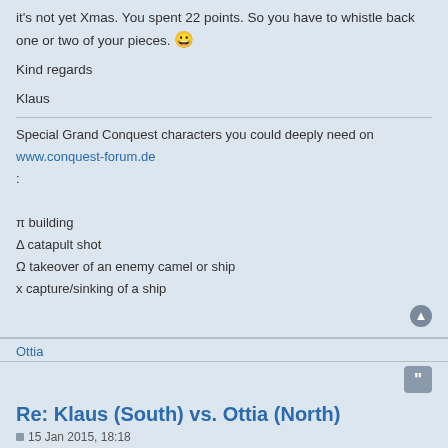it's not yet Xmas. You spent 22 points. So you have to whistle back one or two of your pieces. 😀
Kind regards
Klaus
Special Grand Conquest characters you could deeply need on www.conquest-forum.de :
π building
Δ catapult shot
Ω takeover of an enemy camel or ship
x capture/sinking of a ship
Ottia
Re: Klaus (South) vs. Ottia (North)
15 Jan 2015, 18:18
Well happy 2015! Goodness me, sorry for the delay... when I can reach the computer I've got too much work, when I don't have work I just don't want to come anywhere near the computer (modern life in a nutshell, isn't it). I think I used 20 points.
ATTACHMENTS